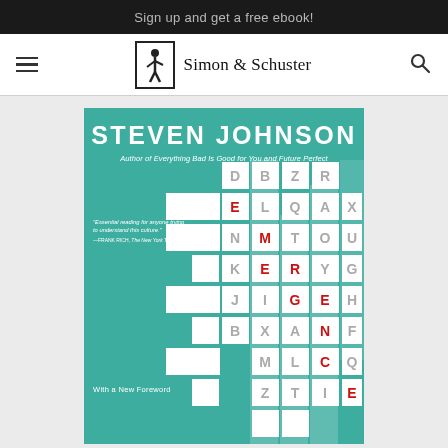Sign up and get a free ebook!
[Figure (logo): Simon & Schuster navigation bar with hamburger menu, logo with colophon figure, and search icon]
[Figure (illustration): Book cover of 'Emergence' by Steven Johnson. Teal background with crossword-puzzle grid design spelling EMERGENCE vertically in red letters. Author name in white bold uppercase at top. Subtitle: Author of Everything Bad Is Good for You and Future Perfect. Quote: 'Essential reading for anyone trying to understand this culture.' —FRANK RICH, The New York Times. With a New Foreword.]